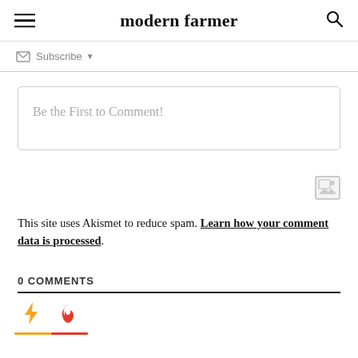modern farmer
Subscribe
Be the First to Comment!
This site uses Akismet to reduce spam. Learn how your comment data is processed.
0 COMMENTS